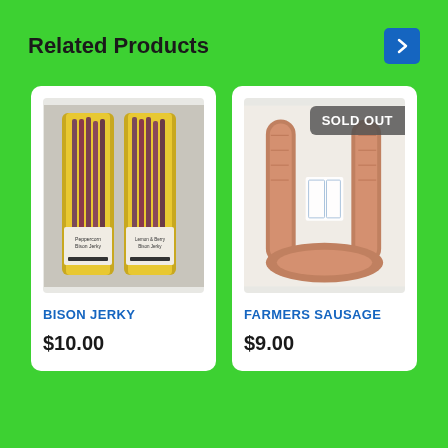Related Products
[Figure (photo): Two packages of Bison Jerky in gold foil packaging with purple/dark red jerky sticks visible inside, on a gray surface]
BISON JERKY
$10.00
[Figure (photo): A coiled farmers sausage on a light background with a white label, marked SOLD OUT]
FARMERS SAUSAGE
$9.00